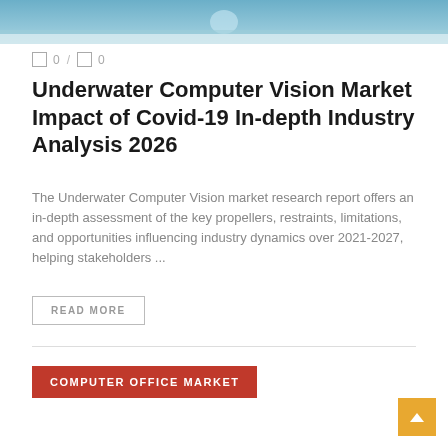[Figure (photo): Header image with blue/teal underwater or sky background tones]
□ 0 / □ 0
Underwater Computer Vision Market Impact of Covid-19 In-depth Industry Analysis 2026
The Underwater Computer Vision market research report offers an in-depth assessment of the key propellers, restraints, limitations, and opportunities influencing industry dynamics over 2021-2027, helping stakeholders ...
READ MORE
COMPUTER OFFICE MARKET